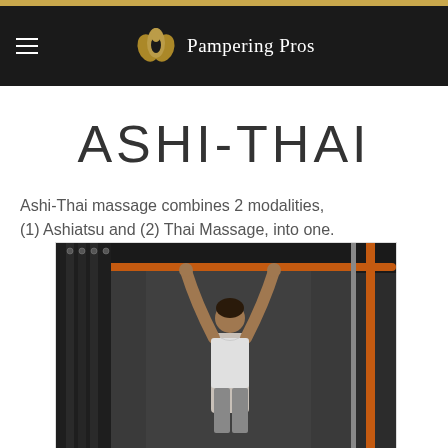Pampering Pros
ASHI-THAI
Ashi-Thai massage combines 2 modalities, (1) Ashiatsu and (2) Thai Massage, into one.
[Figure (photo): A massage therapist holding overhead bars while performing a massage technique involving draping curtains in background and orange overhead bars.]